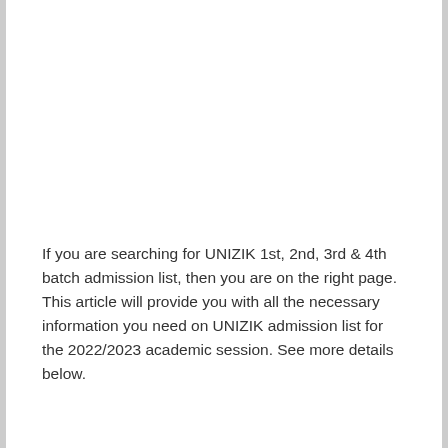If you are searching for UNIZIK 1st, 2nd, 3rd & 4th batch admission list, then you are on the right page. This article will provide you with all the necessary information you need on UNIZIK admission list for the 2022/2023 academic session. See more details below.